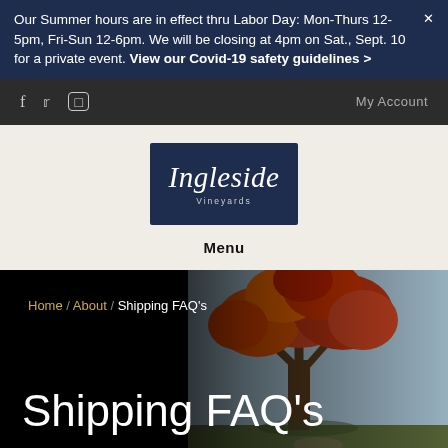Our Summer hours are in effect thru Labor Day: Mon-Thurs 12-5pm, Fri-Sun 12-6pm. We will be closing at 4pm on Sat., Sept. 10 for a private event. View our Covid-19 safety guidelines >
f  y  [instagram icon]   My Account
[Figure (logo): Ingleside Vineyards logo — dark navy blue rectangle with italic white script text 'Ingleside' and small text 'Vineyards' below]
Menu
[Figure (photo): Hero banner image with a large autumn tree with red/orange foliage on the right side against a light blue sky, with a dark gradient overlay on the left side]
Home / About / Shipping FAQ's
Shipping FAQ's